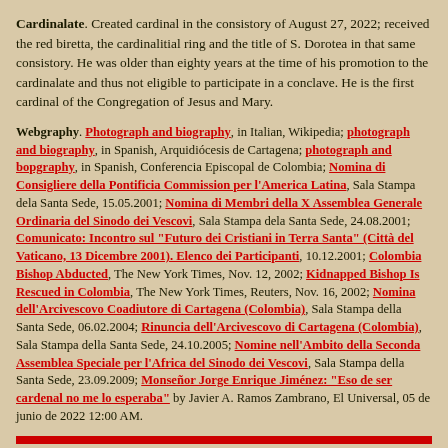Cardinalate. Created cardinal in the consistory of August 27, 2022; received the red biretta, the cardinalitial ring and the title of S. Dorotea in that same consistory. He was older than eighty years at the time of his promotion to the cardinalate and thus not eligible to participate in a conclave. He is the first cardinal of the Congregation of Jesus and Mary.
Webgraphy. Photograph and biography, in Italian, Wikipedia; photograph and biography, in Spanish, Arquidiócesis de Cartagena; photograph and bopgraphy, in Spanish, Conferencia Episcopal de Colombia; Nomina di Consigliere della Pontificia Commission per l'America Latina, Sala Stampa dela la Santa Sede, 15.05.2001; Nomina di Membri della X Assemblea Generale Ordinaria del Sinodo dei Vescovi, Sala Stampa dela Santa Sede, 24.08.2001; Comunicato: Incontro sul "Futuro dei Cristiani in Terra Santa" (Città del Vaticano, 13 Dicembre 2001). Elenco dei Participanti, 10.12.2001; Colombia Bishop Abducted, The New York Times, Nov. 12, 2002; Kidnapped Bishop Is Rescued in Colombia, The New York Times, Reuters, Nov. 16, 2002; Nomina dell'Arcivescovo Coadiutore di Cartagena (Colombia), Sala Stampa della Santa Sede, 06.02.2004; Rinuncia dell'Arcivescovo di Cartagena (Colombia), Sala Stampa della Santa Sede, 24.10.2005; Nomine nell'Ambito della Seconda Assemblea Speciale per l'Africa del Sinodo dei Vescovi, Sala Stampa della Santa Sede, 23.09.2009; Monseñor Jorge Enrique Jiménez: "Eso de ser cardenal no me lo esperaba" by Javier A. Ramos Zambrano, El Universal, 05 de junio de 2022 12:00 AM.